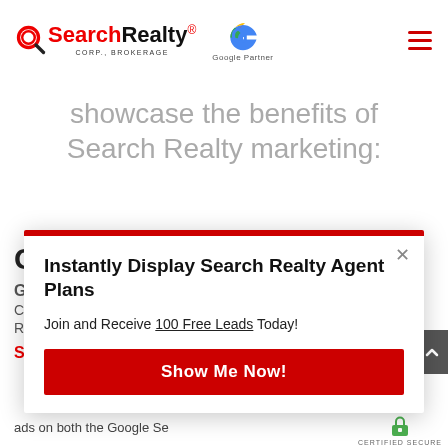[Figure (logo): SearchRealty Corp., Brokerage logo with magnifying glass icon, and Google Partner logo]
showcase the benefits of Search Realty marketing:
[Figure (screenshot): Modal popup with red top border, close button, title 'Instantly Display Search Realty Agent Plans', body text 'Join and Receive 100 Free Leads Today!', and a red 'Show Me Now!' button]
Co
Go
Cu
Re
Start chat
ads on both the Google Se